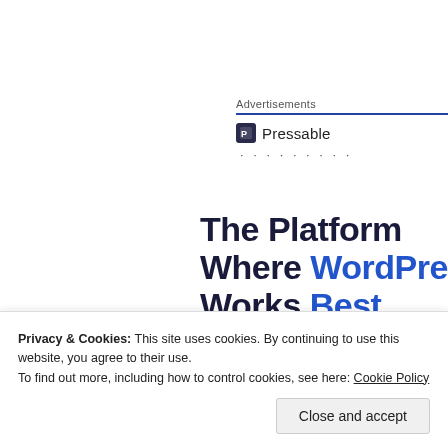Advertisements
[Figure (logo): Pressable logo with icon and text]
The Platform Where WordPress Works Best
The theories of SDL (self-directed learning) provide a
Privacy & Cookies: This site uses cookies. By continuing to use this website, you agree to their use.
To find out more, including how to control cookies, see here: Cookie Policy